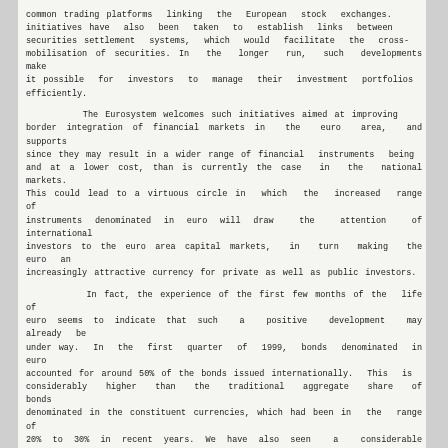common trading platforms linking the European stock exchanges initiatives have also been taken to establish links between securities settlement systems, which would facilitate the cross-border mobilisation of securities. In the longer run, such developments would make it possible for investors to manage their investment portfolios more efficiently.

        The Eurosystem welcomes such initiatives aimed at improving the cross-border integration of financial markets in the euro area, and supports them since they may result in a wider range of financial instruments being available, and at a lower cost, than is currently the case in the national markets. This could lead to a virtuous circle in which the increased range of instruments denominated in euro will draw the attention of international investors to the euro area capital markets, in turn making the euro an increasingly attractive currency for private as well as public investors.

        In fact, the experience of the first few months of the life of the euro seems to indicate that such a positive development may already be under way. In the first quarter of 1999, bonds denominated in euro accounted for around 50% of the bonds issued internationally. This is considerably higher than the traditional aggregate share of bonds denominated in the constituent currencies, which had been in the range of 20% to 30% in recent years. We have also seen a considerable increase in the average size of bond issues denominated in euro, as compared with the size of bonds denominated in the former currencies, which may indicate that secondary trade in euro-denominated issues is likely to become increasingly liquid.

        Despite the recent developments in the euro area capital markets, euro area companies are still mainly dependent on financing through...